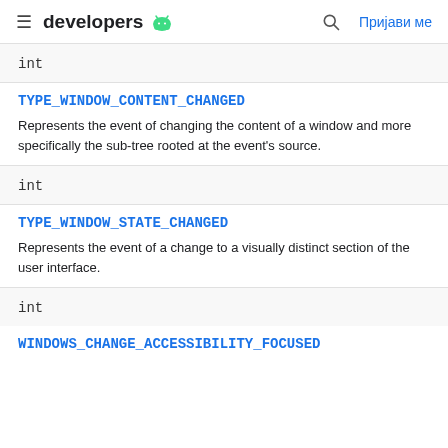developers
int
TYPE_WINDOW_CONTENT_CHANGED
Represents the event of changing the content of a window and more specifically the sub-tree rooted at the event's source.
int
TYPE_WINDOW_STATE_CHANGED
Represents the event of a change to a visually distinct section of the user interface.
int
WINDOWS_CHANGE_ACCESSIBILITY_FOCUSED